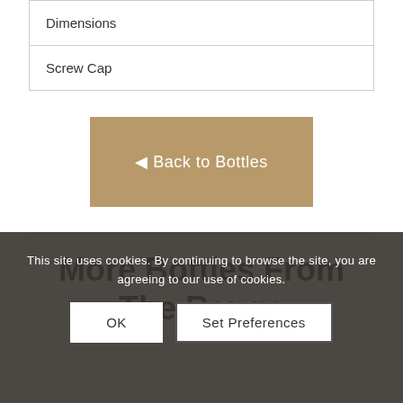| Dimensions |
| Screw Cap |
← Back to Bottles
More Bottles From The Range
This site uses cookies. By continuing to browse the site, you are agreeing to our use of cookies.
OK
Set Preferences